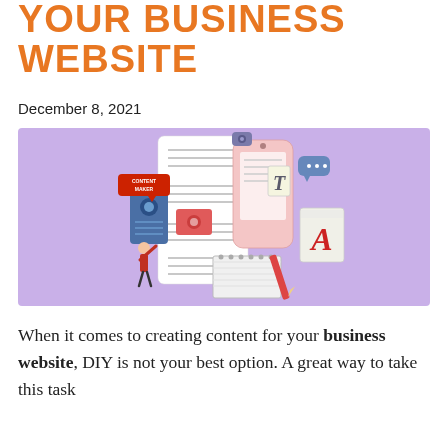YOUR BUSINESS WEBSITE
December 8, 2021
[Figure (illustration): Isometric illustration of content creation for a business website: large scrolling document/phone with icons, a small figure interacting with it, a notebook and pencil, and design elements including text and image placeholders, on a purple background.]
When it comes to creating content for your business website, DIY is not your best option. A great way to take this task